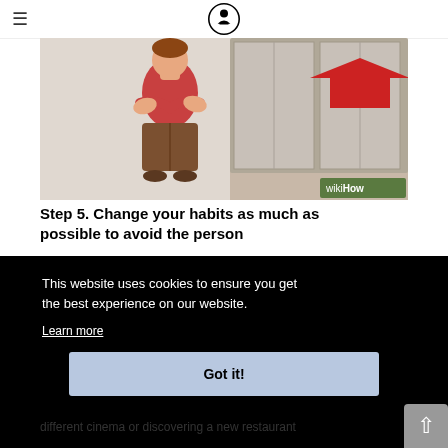wikiHow logo and hamburger menu
[Figure (illustration): WikiHow illustration of a person in a red top and brown pants hugging themselves nervously near an elevator door with a red arrow pointing left, wikiHow watermark in bottom right]
Step 5. Change your habits as much as possible to avoid the person
This website uses cookies to ensure you get the best experience on our website.
Learn more
Got it!
different cinema or discovering a new restaurant